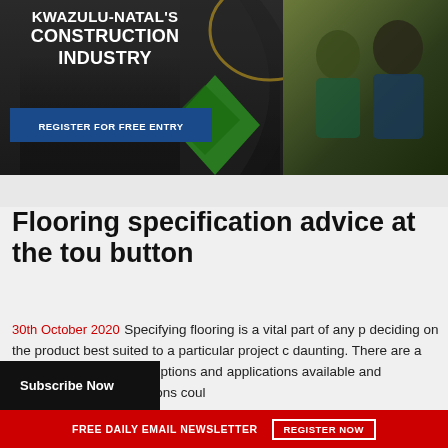[Figure (photo): Banner advertisement for KwaZulu-Natal's Construction Industry with construction workers image on right, green diamond shapes, and a blue 'Register for Free Entry' button]
Flooring specification advice at the touch of a button
30th October 2020    Specifying flooring is a vital part of any project, deciding on the product best suited to a particular project can be daunting. There are a vast number of flooring options and applications available and specification considerations could be main and supplementary... →
FREE DAILY EMAIL NEWSLETTER   REGISTER NOW